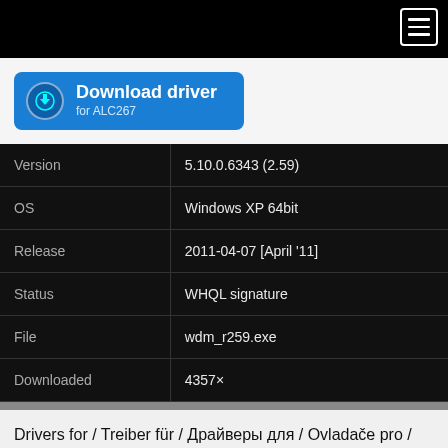[Figure (other): Download driver button for ALC267 with blue background and download icon]
| Field | Value |
| --- | --- |
| Version | 5.10.0.6343 (2.59) |
| OS | Windows XP 64bit |
| Release | 2011-04-07 [April '11] |
| Status | WHQL signature |
| File | wdm_r259.exe |
| Downloaded | 4357× |
Drivers for / Treiber für / Драйверы для / Ovladače pro / Sterowniki do
Realtek® High Definition Audio Function Driver